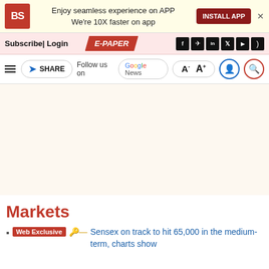BS | Enjoy seamless experience on APP We're 10X faster on app | INSTALL APP
Subscribe| Login | E-PAPER
SHARE | Follow us on Google News | A- A+
Markets
Web Exclusive — Sensex on track to hit 65,000 in the medium-term, charts show